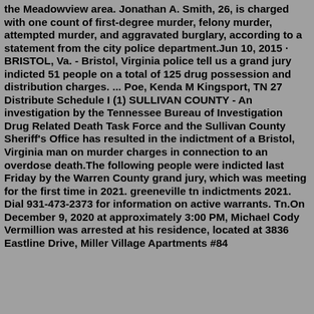the Meadowview area. Jonathan A. Smith, 26, is charged with one count of first-degree murder, felony murder, attempted murder, and aggravated burglary, according to a statement from the city police department.Jun 10, 2015 · BRISTOL, Va. - Bristol, Virginia police tell us a grand jury indicted 51 people on a total of 125 drug possession and distribution charges. ... Poe, Kenda M Kingsport, TN 27 Distribute Schedule I (1) SULLIVAN COUNTY - An investigation by the Tennessee Bureau of Investigation Drug Related Death Task Force and the Sullivan County Sheriff's Office has resulted in the indictment of a Bristol, Virginia man on murder charges in connection to an overdose death.The following people were indicted last Friday by the Warren County grand jury, which was meeting for the first time in 2021. greeneville tn indictments 2021. Dial 931-473-2373 for information on active warrants. Tn.On December 9, 2020 at approximately 3:00 PM, Michael Cody Vermillion was arrested at his residence, located at 3836 Eastline Drive, Miller Village Apartments #84